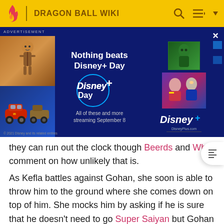DRAGON BALL WIKI
[Figure (screenshot): Disney+ Day advertisement banner with Disney+ logo, streaming characters, and text 'Nothing beats Disney+ Day. All of these and more streaming September 8']
they can run out the clock though Beerds and Whis comment on how unlikely that is.
As Kefla battles against Gohan, she soon is able to throw him to the ground where she comes down on top of him. She mocks him by asking if he is sure that he doesn't need to go Super Saiyan but Gohan responds by kicking her off of him, claiming that he doesn't do that anymore because there's no need to and that that he has chosen to evolve as a human rather then a Saiyan. Piccolo watching above